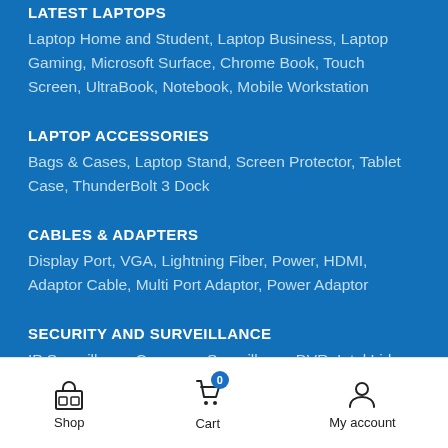LATEST LAPTOPS
Laptop Home and Student, Laptop Business, Laptop Gaming, Microsoft Surface, Chrome Book, Touch Screen, UltraBook, Notebook, Mobile Workstation
LAPTOP ACCESSORIES
Bags & Cases, Laptop Stand, Screen Protector, Tablet Case, ThunderBolt 3 Dock
CABLES & ADAPTERS
Display Port, VGA, Lightning Fiber, Power, HDMI, Adaptor Cable, Multi Port Adaptor, Power Adaptor
SECURITY AND SURVEILLANCE
IP Surveillance Cameras, Surveillance DVR, Intel Lidar …
Shop  Cart 0  My account